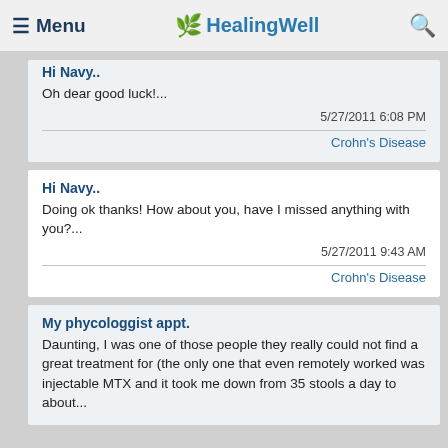Menu | HealingWell | Search
Hi Navy..
Oh dear good luck!...
5/27/2011 6:08 PM
Crohn's Disease
Hi Navy..
Doing ok thanks! How about you, have I missed anything with you?...
5/27/2011 9:43 AM
Crohn's Disease
My phycologgist appt.
Daunting, I was one of those people they really could not find a great treatment for (the only one that even remotely worked was injectable MTX and it took me down from 35 stools a day to about...